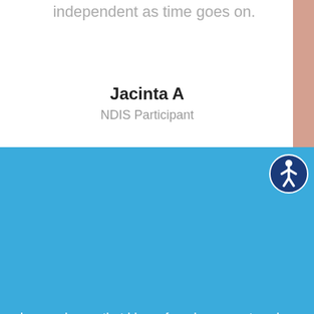independent as time goes on.
Jacinta A
NDIS Participant
I am so happy that I have found a support worker that speaks the same language and understands my culture. We have become best friends now and I couldn't be any happier.
Chanel C
NDIS Participant